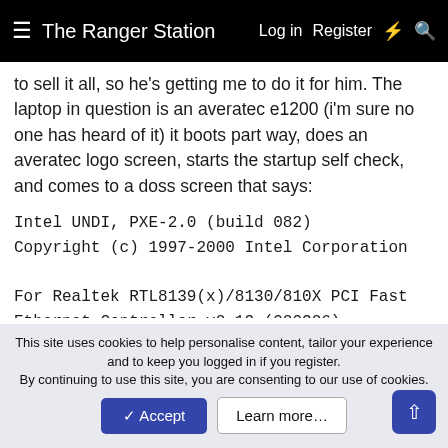The Ranger Station  Log in  Register
to sell it all, so he's getting me to do it for him. The laptop in question is an averatec e1200 (i'm sure no one has heard of it) it boots part way, does an averatec logo screen, starts the startup self check, and comes to a doss screen that says:
Intel UNDI, PXE-2.0 (build 082)
Copyright (c) 1997-2000 Intel Corporation

For Realtek RTL8139(x)/8130/810X PCI Fast Ethernet Controller v2.13 (020326)
PXE-E61: Media test failure, check cable
PXE-M0F: Exiting PXE ROM

Reboot and Select proper Boot device
or Insert Boot Media in selected Boot device and press a
This site uses cookies to help personalise content, tailor your experience and to keep you logged in if you register.
By continuing to use this site, you are consenting to our use of cookies.